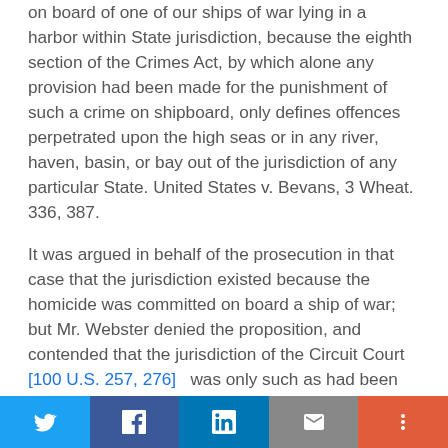on board of one of our ships of war lying in a harbor within State jurisdiction, because the eighth section of the Crimes Act, by which alone any provision had been made for the punishment of such a crime on shipboard, only defines offences perpetrated upon the high seas or in any river, haven, basin, or bay out of the jurisdiction of any particular State. United States v. Bevans, 3 Wheat. 336, 387.
It was argued in behalf of the prosecution in that case that the jurisdiction existed because the homicide was committed on board a ship of war; but Mr. Webster denied the proposition, and contended that the jurisdiction of the Circuit Court [100 U.S. 257, 276] was only such as had been given to it by an act of Congress, and insisted that it was sufficient to maintain for the prisoner that no act of Congress authorized the Circuit Court to take cognizance of any offences merely because they were committed on ships
Twitter | Facebook | LinkedIn | Email | More